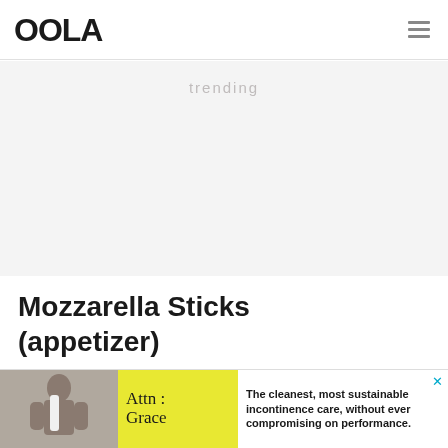OOLA
[Figure (other): Grey advertisement banner area with faint 'trending' watermark text in the background]
Mozzarella Sticks (appetizer)
[Figure (other): Bottom advertisement banner: image of person on left, yellow section with 'Attn: Grace' text, white section with ad copy 'The cleanest, most sustainable incontinence care, without ever compromising on performance.' Close button top right.]